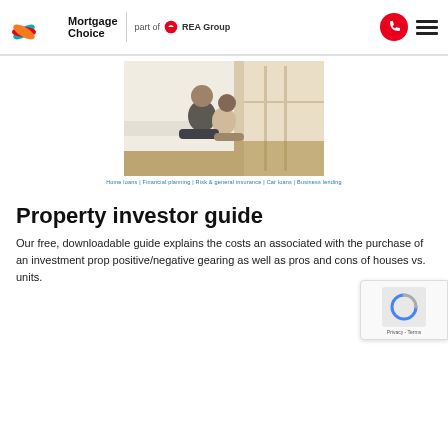Mortgage Choice — part of REA Group
[Figure (photo): A couple sitting on a wooden floor leaning against a white wall near large windows, smiling at each other.]
Home loans | Financial planning | Risk & general insurance | Car loans | Business lending
Property investor guide
Our free, downloadable guide explains the costs and associated with the purchase of an investment property, positive/negative gearing as well as pros and cons of houses vs. units.